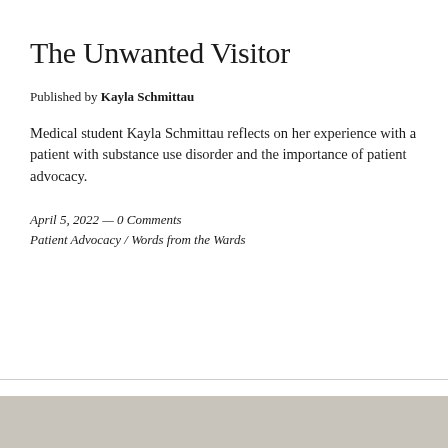The Unwanted Visitor
Published by Kayla Schmittau
Medical student Kayla Schmittau reflects on her experience with a patient with substance use disorder and the importance of patient advocacy.
April 5, 2022 — 0 Comments
Patient Advocacy / Words from the Wards